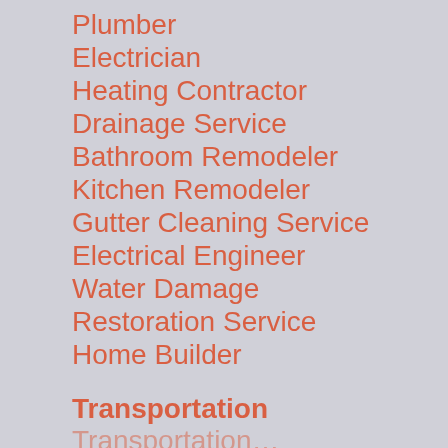Plumber
Electrician
Heating Contractor
Drainage Service
Bathroom Remodeler
Kitchen Remodeler
Gutter Cleaning Service
Electrical Engineer
Water Damage
Restoration Service
Home Builder
Transportation
…(partial, cut off)